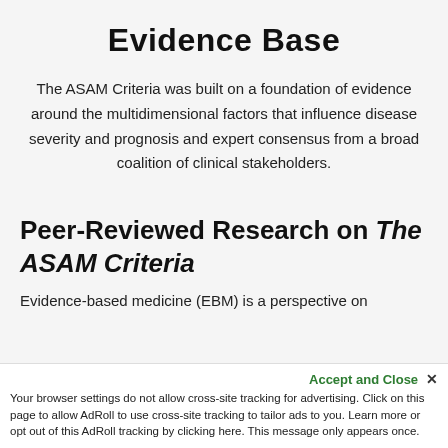Evidence Base
The ASAM Criteria was built on a foundation of evidence around the multidimensional factors that influence disease severity and prognosis and expert consensus from a broad coalition of clinical stakeholders.
Peer-Reviewed Research on The ASAM Criteria
Evidence-based medicine (EBM) is a perspective on
Accept and Close ✕
Your browser settings do not allow cross-site tracking for advertising. Click on this page to allow AdRoll to use cross-site tracking to tailor ads to you. Learn more or opt out of this AdRoll tracking by clicking here. This message only appears once.